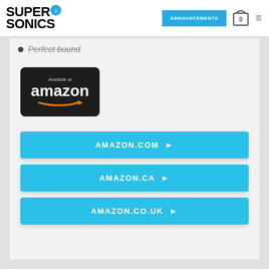SuperSonics — ANNOUNCEMENTS | cart: 0 | menu
Perfect bound
[Figure (logo): Available at Amazon badge — dark rounded rectangle with 'Available at' in small grey text and 'amazon' in white with orange arrow logo beneath]
AMAZON.COM ▶
AMAZON.CA ▶
AMAZON.CO.UK ▶